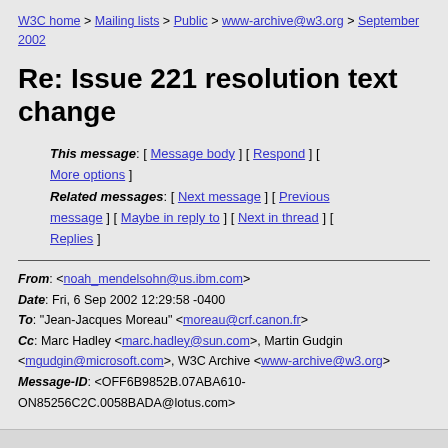W3C home > Mailing lists > Public > www-archive@w3.org > September 2002
Re: Issue 221 resolution text change
This message: [ Message body ] [ Respond ] [ More options ] Related messages: [ Next message ] [ Previous message ] [ Maybe in reply to ] [ Next in thread ] [ Replies ]
From: <noah_mendelsohn@us.ibm.com> Date: Fri, 6 Sep 2002 12:29:58 -0400 To: "Jean-Jacques Moreau" <moreau@crf.canon.fr> Cc: Marc Hadley <marc.hadley@sun.com>, Martin Gudgin <mgudgin@microsoft.com>, W3C Archive <www-archive@w3.org> Message-ID: <OFF6B9852B.07ABA610-ON85256C2C.0058BADA@lotus.com>